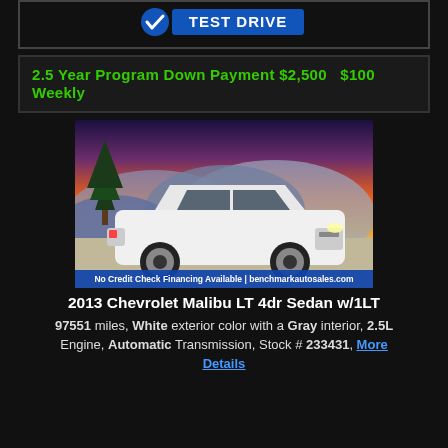[Figure (logo): Test Drive logo/badge at top of page]
2.5 Year Program Down Payment $2,500   $100 Weekly
[Figure (photo): 2013 Chevrolet Malibu LT white sedan parked with mountain and sunset background. Banner text: No Credit Check Financing Available | benchmarkautosales.com]
2013 Chevrolet Malibu LT 4dr Sedan w/1LT
97551 miles, White exterior color with a Gray interior, 2.5L Engine, Automatic Transmission, Stock # 233431, More Details